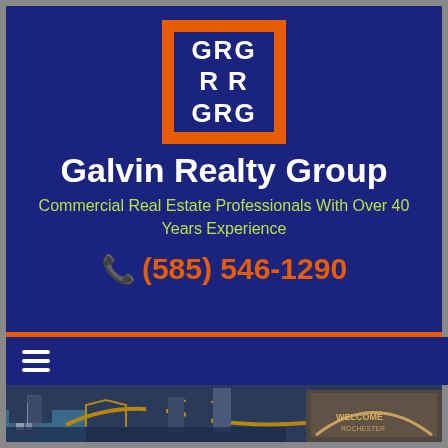[Figure (logo): GRG Realty logo: orange square border with dark navy interior showing GRG / R R / GRG in white bold text]
Galvin Realty Group
Commercial Real Estate Professionals With Over 40 Years Experience
(585) 546-1290
[Figure (photo): Cityscape photo showing Rochester NY skyline with waterfalls, bridge, and Welcome to Rochester sign]